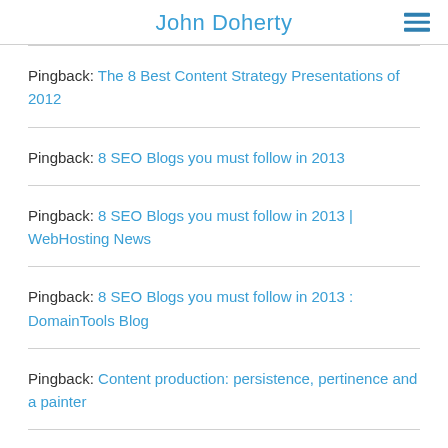John Doherty
Pingback: The 8 Best Content Strategy Presentations of 2012
Pingback: 8 SEO Blogs you must follow in 2013
Pingback: 8 SEO Blogs you must follow in 2013 | WebHosting News
Pingback: 8 SEO Blogs you must follow in 2013 : DomainTools Blog
Pingback: Content production: persistence, pertinence and a painter